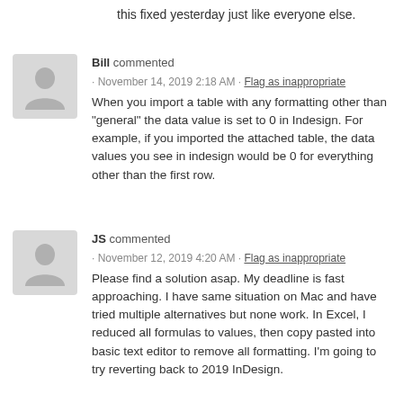this fixed yesterday just like everyone else.
Bill commented
· November 14, 2019 2:18 AM · Flag as inappropriate
When you import a table with any formatting other than "general" the data value is set to 0 in Indesign. For example, if you imported the attached table, the data values you see in indesign would be 0 for everything other than the first row.
JS commented
· November 12, 2019 4:20 AM · Flag as inappropriate
Please find a solution asap. My deadline is fast approaching. I have same situation on Mac and have tried multiple alternatives but none work. In Excel, I reduced all formulas to values, then copy pasted into basic text editor to remove all formatting. I'm going to try reverting back to 2019 InDesign.